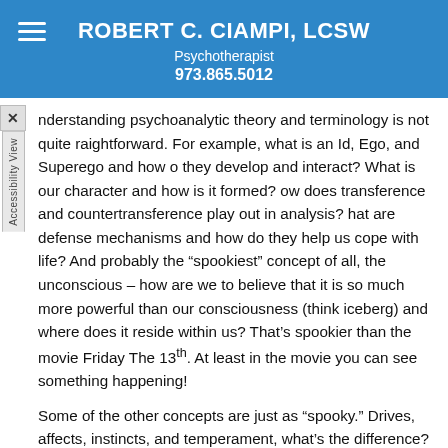ROBERT C. CIAMPI, LCSW
Psychotherapist
973.865.5012
nderstanding psychoanalytic theory and terminology is not quite raightforward. For example, what is an Id, Ego, and Superego and how o they develop and interact? What is our character and how is it formed? ow does transference and countertransference play out in analysis? hat are defense mechanisms and how do they help us cope with life? And probably the “spookiest” concept of all, the unconscious – how are we to believe that it is so much more powerful than our consciousness (think iceberg) and where does it reside within us? That’s spookier than the movie Friday The 13th. At least in the movie you can see something happening!
Some of the other concepts are just as “spooky.” Drives, affects, instincts, and temperament, what’s the difference? Childhood sexual development, can we even talk about this? Free association, what is this “babel” and what can be garnered from it? The Oedipus Complex, getting rid of dad to